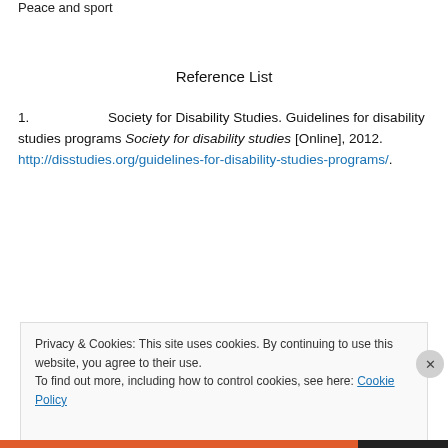Peace and sport
Reference List
1.   Society for Disability Studies. Guidelines for disability studies programs Society for disability studies [Online], 2012. http://disstudies.org/guidelines-for-disability-studies-programs/.
Privacy & Cookies: This site uses cookies. By continuing to use this website, you agree to their use. To find out more, including how to control cookies, see here: Cookie Policy
Close and accept